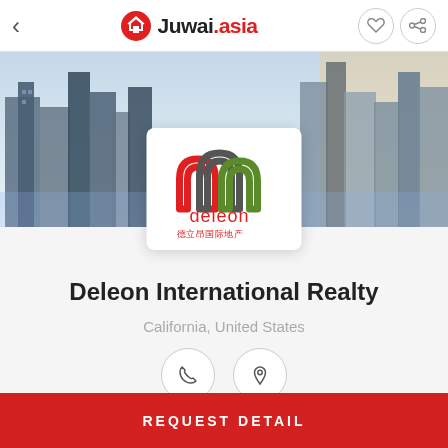Juwai.asia
[Figure (photo): City skyline banner showing urban buildings and skyscrapers]
[Figure (logo): Deleon International Realty logo with three arch shapes in red, green and blue, text 'deleon' and Chinese characters '德立昂国际地产']
Deleon International Realty
California, United States
REQUEST DETAIL